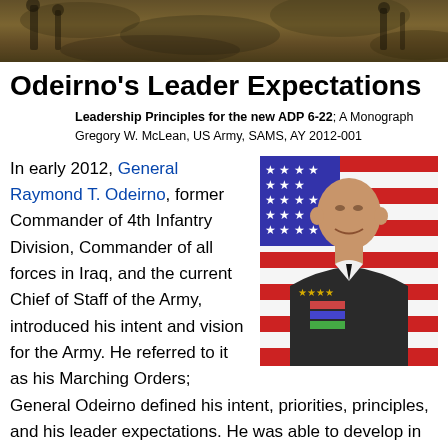[Figure (photo): Military personnel in camouflage gear, header image]
Odeirno's Leader Expectations
Leadership Principles for the new ADP 6-22; A Monograph by Gregory W. McLean, US Army, SAMS, AY 2012-001
In early 2012, General Raymond T. Odeirno, former Commander of 4th Infantry Division, Commander of all forces in Iraq, and the current Chief of Staff of the Army, introduced his intent and vision for the Army. He referred to it as his Marching Orders; General Odeirno defined his intent, priorities, principles, and his leader expectations. He was able to develop in eight bullets exactly what a leader must do to fulfill his vision for the Ar
[Figure (photo): Portrait of General Raymond T. Odeirno in military dress uniform in front of American flag]